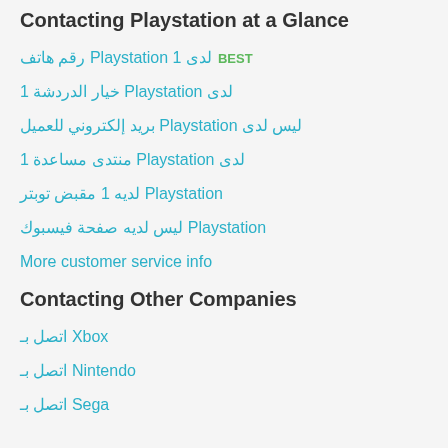Contacting Playstation at a Glance
رقم هاتف Playstation 1 لدى BEST
خيار الدردشة 1 Playstation لدى
بريد إلكتروني للعميل Playstation ليس لدى
منتدى مساعدة 1 Playstation لدى
لديه 1 مقبض توبتر Playstation
ليس لديه صفحة فيسبوك Playstation
More customer service info
Contacting Other Companies
اتصل بـ Xbox
اتصل بـ Nintendo
اتصل بـ Sega